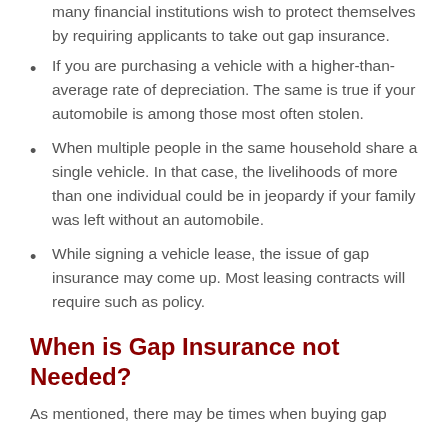many financial institutions wish to protect themselves by requiring applicants to take out gap insurance.
If you are purchasing a vehicle with a higher-than-average rate of depreciation. The same is true if your automobile is among those most often stolen.
When multiple people in the same household share a single vehicle. In that case, the livelihoods of more than one individual could be in jeopardy if your family was left without an automobile.
While signing a vehicle lease, the issue of gap insurance may come up. Most leasing contracts will require such as policy.
When is Gap Insurance not Needed?
As mentioned, there may be times when buying gap